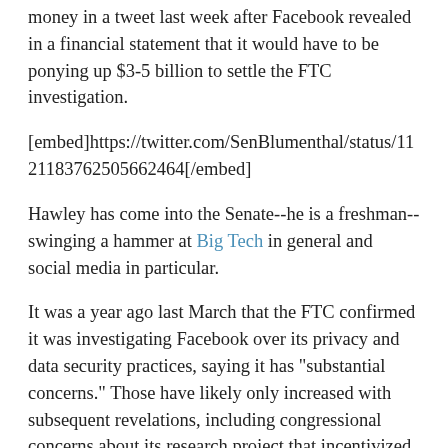money in a tweet last week after Facebook revealed in a financial statement that it would have to be ponying up $3-5 billion to settle the FTC investigation.
[embed]https://twitter.com/SenBlumenthal/status/1121183762505662464[/embed]
Hawley has come into the Senate--he is a freshman--swinging a hammer at Big Tech in general and social media in particular.
It was a year ago last March that the FTC confirmed it was investigating Facebook over its privacy and data security practices, saying it has "substantial concerns." Those have likely only increased with subsequent revelations, including congressional concerns about its research project that incentivized teens and others to give up info (Project Atlas) and